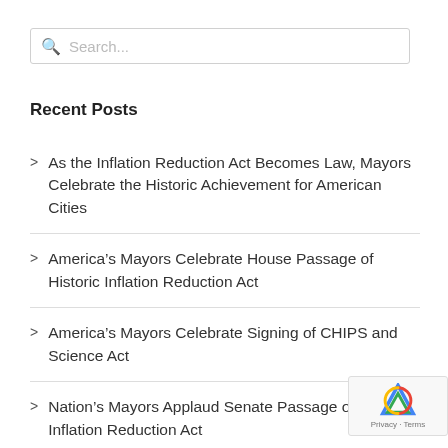Search...
Recent Posts
As the Inflation Reduction Act Becomes Law, Mayors Celebrate the Historic Achievement for American Cities
America's Mayors Celebrate House Passage of Historic Inflation Reduction Act
America's Mayors Celebrate Signing of CHIPS and Science Act
Nation's Mayors Applaud Senate Passage of the Inflation Reduction Act
Nation's Mayors Appl...